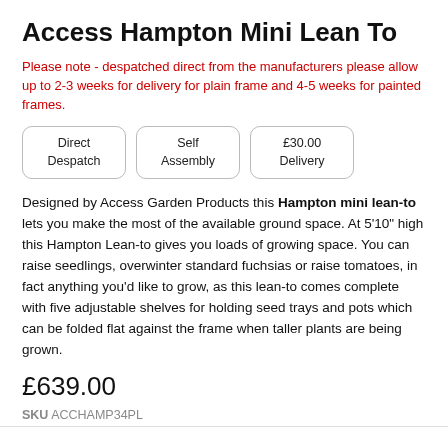Access Hampton Mini Lean To
Please note - despatched direct from the manufacturers please allow up to 2-3 weeks for delivery for plain frame and 4-5 weeks for painted frames.
[Figure (infographic): Three badge icons: Direct Despatch, Self Assembly, £30.00 Delivery]
Designed by Access Garden Products this Hampton mini lean-to lets you make the most of the available ground space. At 5'10" high this Hampton Lean-to gives you loads of growing space. You can raise seedlings, overwinter standard fuchsias or raise tomatoes, in fact anything you'd like to grow, as this lean-to comes complete with five adjustable shelves for holding seed trays and pots which can be folded flat against the frame when taller plants are being grown.
£639.00
SKU ACCHAMP34PL